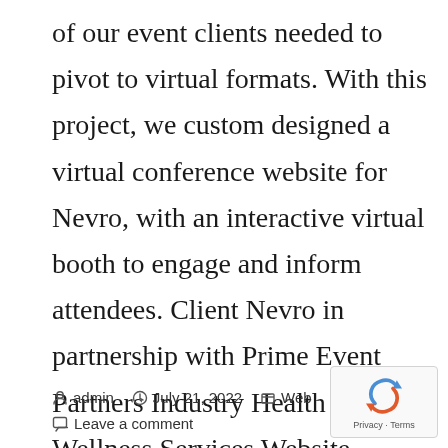of our event clients needed to pivot to virtual formats. With this project, we custom designed a virtual conference website for Nevro, with an interactive virtual booth to engage and inform attendees. Client Nevro in partnership with Prime Event Partners Industry Health and Wellness Services Website Design […]
admin   July 21, 2022   Web   Leave a comment